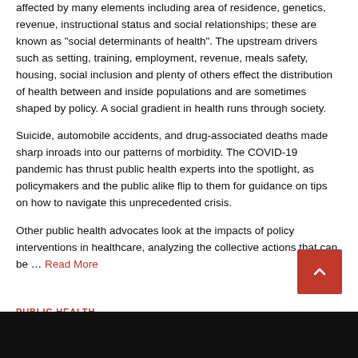affected by many elements including area of residence, genetics, revenue, instructional status and social relationships; these are known as "social determinants of health". The upstream drivers such as setting, training, employment, revenue, meals safety, housing, social inclusion and plenty of others effect the distribution of health between and inside populations and are sometimes shaped by policy. A social gradient in health runs through society.
Suicide, automobile accidents, and drug-associated deaths made sharp inroads into our patterns of morbidity. The COVID-19 pandemic has thrust public health experts into the spotlight, as policymakers and the public alike flip to them for guidance on tips on how to navigate this unprecedented crisis.
Other public health advocates look at the impacts of policy interventions in healthcare, analyzing the collective actions that can be … Read More
PUBLIC HEALTH
Public Health England
jimmy   February 26, 2020